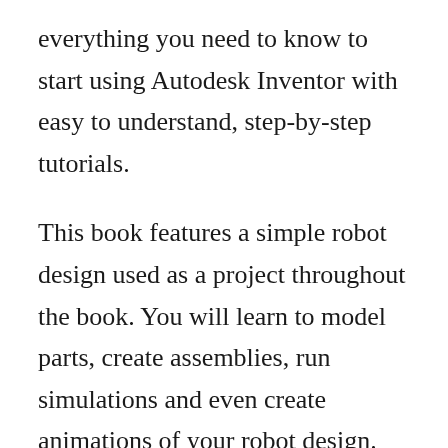everything you need to know to start using Autodesk Inventor with easy to understand, step-by-step tutorials.
This book features a simple robot design used as a project throughout the book. You will learn to model parts, create assemblies, run simulations and even create animations of your robot design.
An unassembled version of the same robot used throughout the book can be bundled